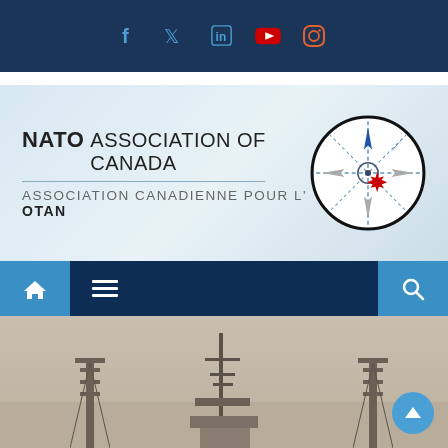Social media icons: Facebook, Twitter, LinkedIn, YouTube, Instagram
[Figure (logo): NATO Association of Canada / Association Canadienne pour l'OTAN banner with compass rose logo]
[Figure (infographic): Navigation bar with home icon, hamburger menu, and search icon]
[Figure (photo): Photograph of a naval warship with bridge structures visible through haze]